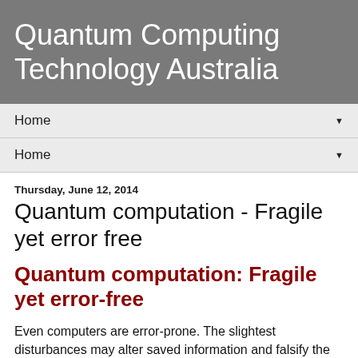Quantum Computing Technology Australia
Home
Home
Thursday, June 12, 2014
Quantum computation - Fragile yet error free
Quantum computation: Fragile yet error-free
Even computers are error-prone. The slightest disturbances may alter saved information and falsify the results of calculations. To overcome these problems, computers use